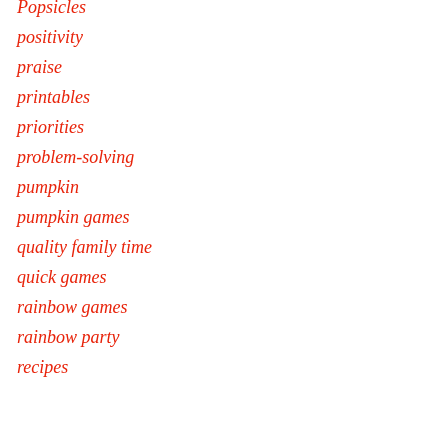Popsicles
positivity
praise
printables
priorities
problem-solving
pumpkin
pumpkin games
quality family time
quick games
rainbow games
rainbow party
recipes